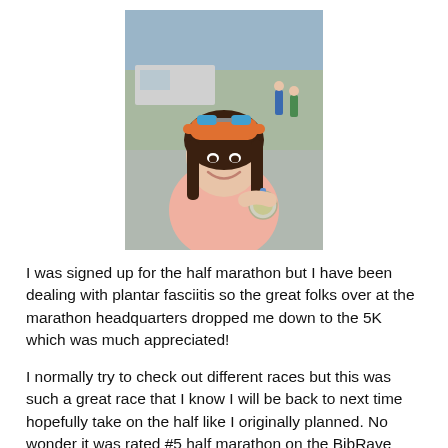[Figure (photo): Woman smiling holding a race medal, wearing a colorful hat with sunglasses on top and a pink top, outdoor race setting]
I was signed up for the half marathon but I have been dealing with plantar fasciitis so the great folks over at the marathon headquarters dropped me down to the 5K which was much appreciated!
I normally try to check out different races but this was such a great race that I know I will be back to next time hopefully take on the half like I originally planned. No wonder it was rated #5 half marathon on the BibRave 100!
Packet pick up is well organized and easy to navigate. The expo is decent sized too with some great vendors. I had a mini localized cryotherapy session done at one booth and had my heel taped at another which seemed to help a bit with my PF. The shirts ran extremely small so after the race I was